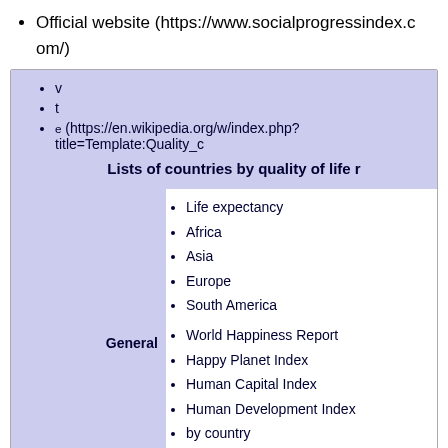Official website (https://www.socialprogressindex.com/)
v
t
e (https://en.wikipedia.org/w/index.php?title=Template:Quality_c
Lists of countries by quality of life r
Life expectancy
Africa
Asia
Europe
South America
World Happiness Report
Happy Planet Index
Human Capital Index
Human Development Index
by country